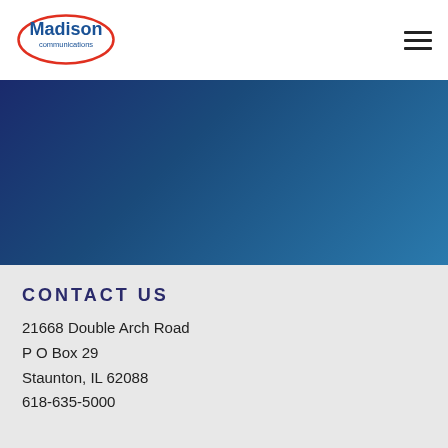[Figure (logo): Madison Communications logo with red oval and blue text]
[Figure (illustration): Dark blue to teal gradient hero banner]
CONTACT US
21668 Double Arch Road
P O Box 29
Staunton, IL 62088
618-635-5000